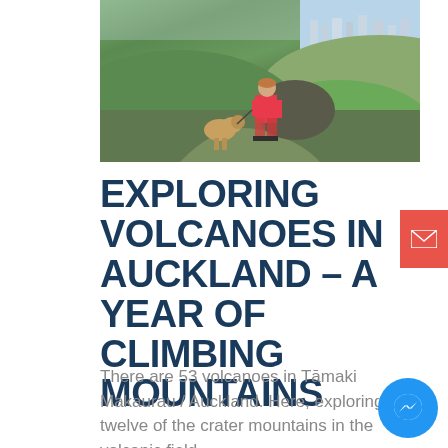[Figure (photo): Person in red shorts with a dog on a leash standing on volcanic green hills in Auckland, with city visible in the background]
EXPLORING VOLCANOES IN AUCKLAND – A YEAR OF CLIMBING MOUNTAINS
There are 53 volcanoes in Tāmaki Makaurau / Auckland. Here, exploring twelve of the crater mountains in the volcanic field.